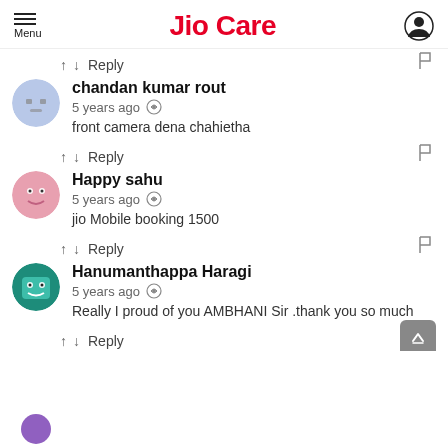Jio Care
↑ ↓ Reply
chandan kumar rout
5 years ago
front camera dena chahietha
↑ ↓ Reply
Happy sahu
5 years ago
jio Mobile booking 1500
↑ ↓ Reply
Hanumanthappa Haragi
5 years ago
Really I proud of you AMBHANI Sir .thank you so much
↑ ↓ Reply